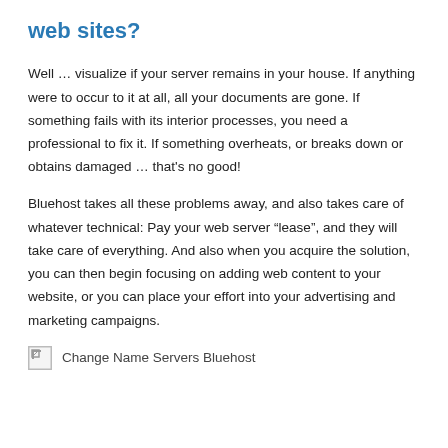web sites?
Well … visualize if your server remains in your house. If anything were to occur to it at all, all your documents are gone. If something fails with its interior processes, you need a professional to fix it. If something overheats, or breaks down or obtains damaged … that's no good!
Bluehost takes all these problems away, and also takes care of whatever technical: Pay your web server “lease”, and they will take care of everything. And also when you acquire the solution, you can then begin focusing on adding web content to your website, or you can place your effort into your advertising and marketing campaigns.
[Figure (other): Broken image placeholder with alt text: Change Name Servers Bluehost]